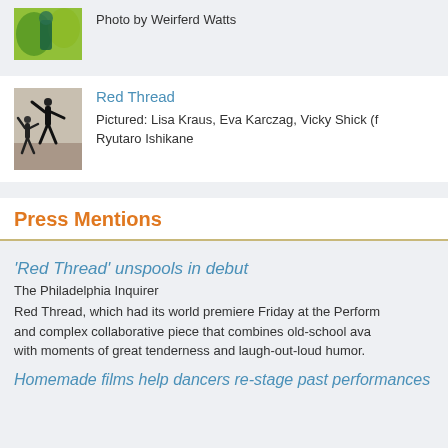Photo by Weirferd Watts
[Figure (photo): Dancer in colorful green/yellow costume]
Red Thread
Pictured: Lisa Kraus, Eva Karczag, Vicky Shick (f... Ryutaro Ishikane
[Figure (photo): Two dancers in black clothing performing]
Press Mentions
'Red Thread' unspools in debut
The Philadelphia Inquirer
Red Thread, which had its world premiere Friday at the Perform... and complex collaborative piece that combines old-school ava... with moments of great tenderness and laugh-out-loud humor.
Homemade films help dancers re-stage past performances